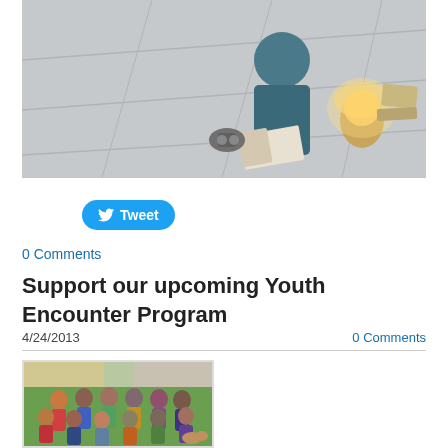[Figure (photo): Person kneeling on the floor with a book, a candle jar glowing, and other items around them on a tiled surface.]
Tweet
0 Comments
Support our upcoming Youth Encounter Program
4/24/2013
0 Comments
[Figure (photo): Group photo of a large group of young people (teenagers/youth) posing together outdoors on grass in front of a building.]